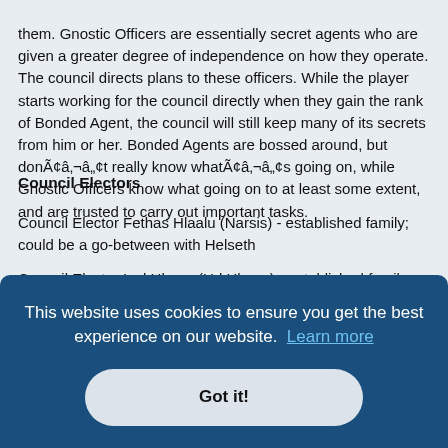them. Gnostic Officers are essentially secret agents who are given a greater degree of independence on how they operate. The council directs plans to these officers. While the player starts working for the council directly when they gain the rank of Bonded Agent, the council will still keep many of its secrets from him or her. Bonded Agents are bossed around, but donÃ¢â€¬Ã¢â€t really know whatÃ¢â€¬Ã¢â€s going on, while Gnostic Officers know what going on to at least some extent, and are trusted to carry out important tasks.
Council Electors
Council Elector Fethas Hlaalu (Narsis) - established family; could be a go-between with Helseth
Council Elector Ivul Hleryn (Ud Hleryn) - established family
Council Elector Llaasa Indarys (Kragenmar) - established family with Redoran branch. (House Indarys may have been a minor house in the ... rporated
... ong with
... tant ... ke of
Council Elector Dram Bero (Vivec) - family status unimportant
[Figure (other): Cookie consent banner overlay with dark blue background, text 'This website uses cookies to ensure you get the best experience on our website. Learn more' and a 'Got it!' button.]